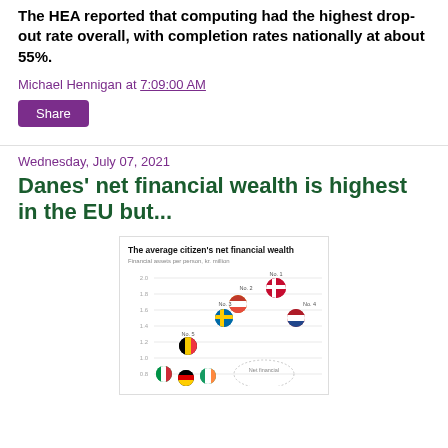The HEA reported that computing had the highest drop-out rate overall, with completion rates nationally at about 55%.
Michael Hennigan at 7:09:00 AM
Share
Wednesday, July 07, 2021
Danes' net financial wealth is highest in the EU but...
[Figure (scatter-plot): Scatter plot showing average citizen net financial wealth by country (EU), with flag icons for each country. No. 1 Denmark ~2.0, No. 2 ~1.8, No. 3 Sweden ~1.6, No. 4 Netherlands ~1.6, No. 5 Belgium ~1.3. Also shows a 'Net financial' annotation.]